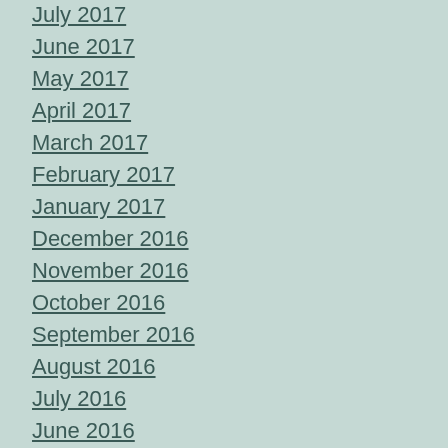July 2017
June 2017
May 2017
April 2017
March 2017
February 2017
January 2017
December 2016
November 2016
October 2016
September 2016
August 2016
July 2016
June 2016